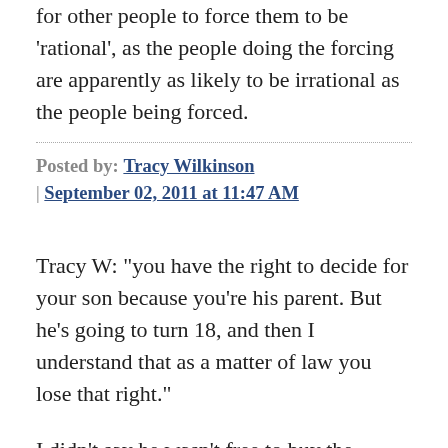for other people to force them to be 'rational', as the people doing the forcing are apparently as likely to be irrational as the people being forced.
Posted by: Tracy Wilkinson | September 02, 2011 at 11:47 AM
Tracy W:  "you have the right to decide for your son because you're his parent. But he's going to turn 18, and then I understand that as a matter of law you lose that right."
I didn't say he wasn't free to buy the sneakers with his own money. And I'll admit, the